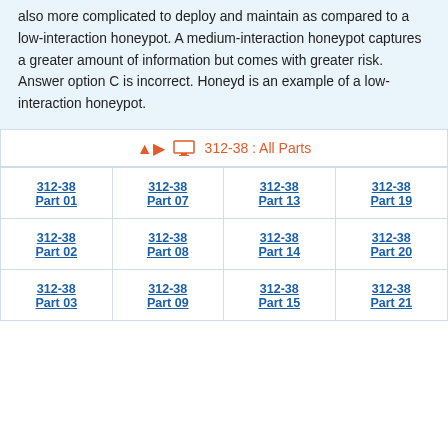also more complicated to deploy and maintain as compared to a low-interaction honeypot. A medium-interaction honeypot captures a greater amount of information but comes with greater risk. Answer option C is incorrect. Honeyd is an example of a low-interaction honeypot.
312-38 : All Parts
312-38 Part 01
312-38 Part 07
312-38 Part 13
312-38 Part 19
312-38 Part 02
312-38 Part 08
312-38 Part 14
312-38 Part 20
312-38 Part 03
312-38 Part 09
312-38 Part 15
312-38 Part 21